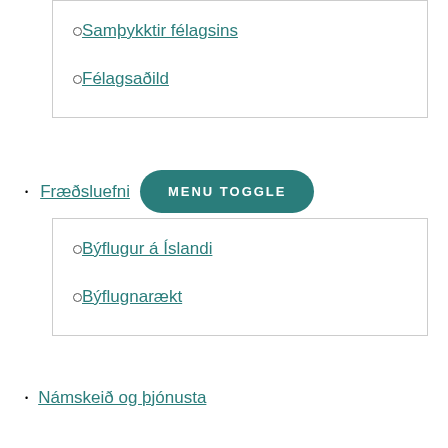Samþykktir félagsins
Félagsaðild
Fræðsluefni
Býflugur á Íslandi
Býflugnarækt
Námskeið og þjónusta